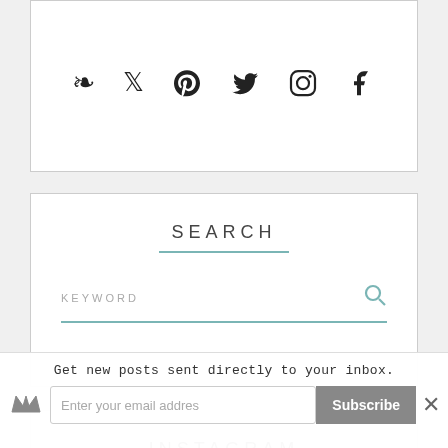[Figure (other): Social media icons: Pinterest, Twitter, Instagram, Facebook]
SEARCH
KEYWORD (search input field with search icon)
INSTAGRAM
[Figure (photo): Instagram photos thumbnail strip]
Get new posts sent directly to your inbox.
Enter your email addres  Subscribe  ×